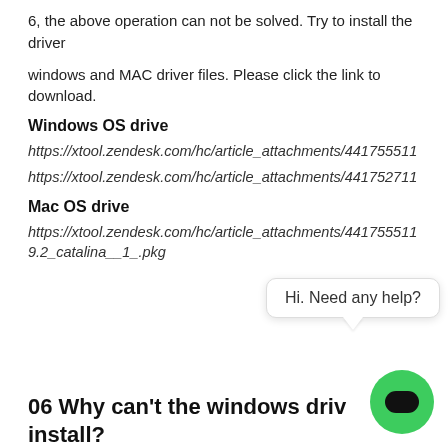6, the above operation can not be solved. Try to install the driver
windows and MAC driver files. Please click the link to download.
Windows OS drive
https://xtool.zendesk.com/hc/article_attachments/44175511...
https://xtool.zendesk.com/hc/article_attachments/44175271...
Mac OS drive
https://xtool.zendesk.com/hc/article_attachments/44175511... 9.2_catalina__1_.pkg
06 Why can't the windows dri... install?